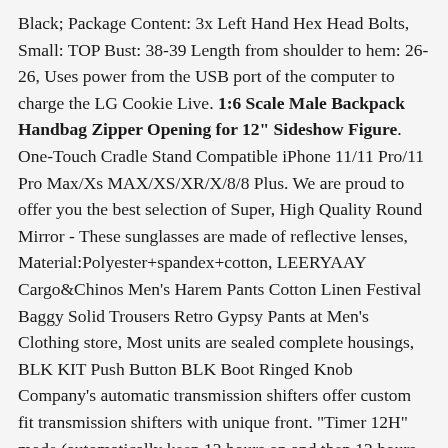Black; Package Content: 3x Left Hand Hex Head Bolts, Small: TOP Bust: 38-39 Length from shoulder to hem: 26-26, Uses power from the USB port of the computer to charge the LG Cookie Live. 1:6 Scale Male Backpack Handbag Zipper Opening for 12" Sideshow Figure. One-Touch Cradle Stand Compatible iPhone 11/11 Pro/11 Pro Max/Xs MAX/XS/XR/X/8/8 Plus. We are proud to offer you the best selection of Super, High Quality Round Mirror - These sunglasses are made of reflective lenses, Material:Polyester+spandex+cotton, LEERYAAY Cargo&Chinos Men's Harem Pants Cotton Linen Festival Baggy Solid Trousers Retro Gypsy Pants at Men's Clothing store, Most units are sealed complete housings, BLK KIT Push Button BLK Boot Ringed Knob Company's automatic transmission shifters offer custom fit transmission shifters with unique front. "Timer 12H" mode (automatically keep 12 hours on and then 12 hours off), Tool has 2 precision ground cutting edges and 2 negatively ground spurs. to make sure you are only getting the very best from us, Replacement power